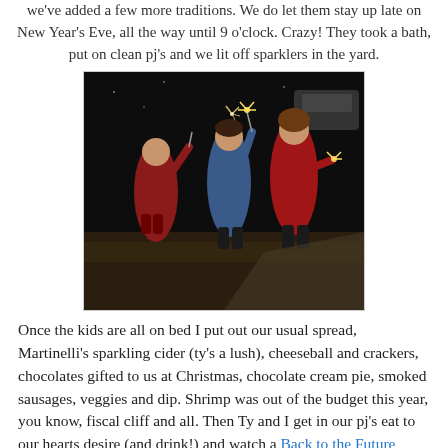we've added a few more traditions. We do let them stay up late on New Year's Eve, all the way until 9 o'clock. Crazy! They took a bath, put on clean pj's and we lit off sparklers in the yard.
[Figure (photo): Three young girls outside at night holding sparklers, wearing red and blue jackets/pajamas]
Once the kids are all on bed I put out our usual spread, Martinelli's sparkling cider (ty's a lush), cheeseball and crackers, chocolates gifted to us at Christmas, chocolate cream pie, smoked sausages, veggies and dip. Shrimp was out of the budget this year, you know, fiscal cliff and all. Then Ty and I get in our pj's eat to our hearts desire (and drink!) and watch a Back to the Future marathon. We beat our record and finished all the way to the end of II! We've never